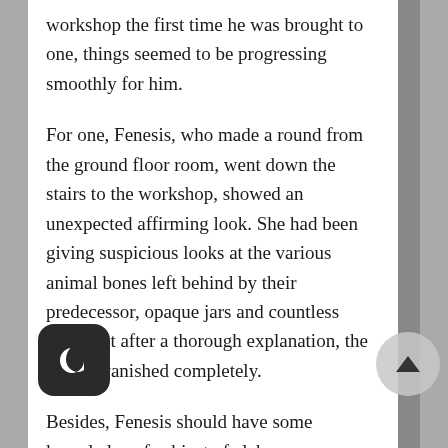workshop the first time he was brought to one, things seemed to be progressing smoothly for him.
For one, Fenesis, who made a round from the ground floor room, went down the stairs to the workshop, showed an unexpected affirming look. She had been giving suspicious looks at the various animal bones left behind by their predecessor, opaque jars and countless vials, but after a thorough explanation, the doubts vanished completely.
Besides, Fenesis should have some knowledge of subject of alchemy, a requisite needed to be tasked with the role of an invigilator. However, it